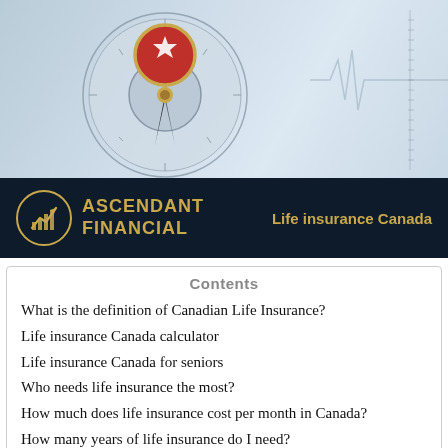[Figure (illustration): Decorative header image showing a compass with a Canadian flag globe on top, gold needle pointing, on a light blue-grey background with a faint heartbeat/ECG line on the right side.]
[Figure (logo): Ascendant Financial logo banner: dark navy background, gold circular logo with bar chart and upward arrow, gold text 'ASCENDANT FINANCIAL', and gold text 'Life insurance Canada' on the right.]
Contents
What is the definition of Canadian Life Insurance?
Life insurance Canada calculator
Life insurance Canada for seniors
Who needs life insurance the most?
How much does life insurance cost per month in Canada?
How many years of life insurance do I need?
Canadian Life insurance Experts